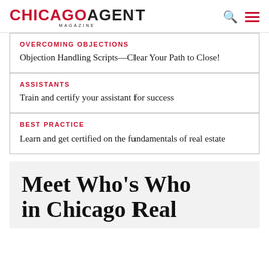CHICAGO AGENT MAGAZINE
OVERCOMING OBJECTIONS
Objection Handling Scripts—Clear Your Path to Close!
ASSISTANTS
Train and certify your assistant for success
BEST PRACTICE
Learn and get certified on the fundamentals of real estate
Meet Who's Who in Chicago Real